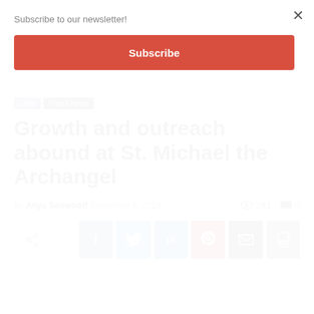Subscribe to our newsletter!
Subscribe
×
Local   Parish News
Growth and outreach abound at St. Michael the Archangel
By Anya Semenoff  November 8, 2019  241  0
[Figure (screenshot): Social sharing buttons: share icon, arrow, Facebook, Twitter, LinkedIn, Pinterest, Email, Print]